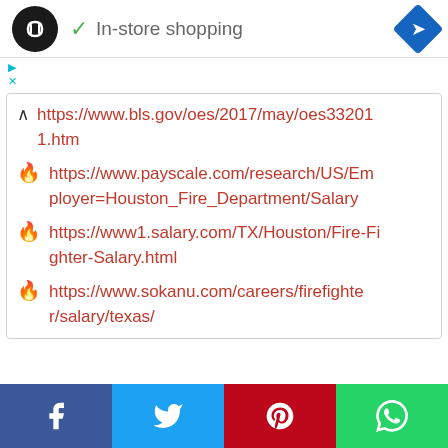[Figure (screenshot): Top bar with logo circle, checkmark, 'In-store shopping' text, and blue navigation diamond icon]
In-store shopping
https://www.bls.gov/oes/2017/may/oes332011.htm
https://www.payscale.com/research/US/Employer=Houston_Fire_Department/Salary
https://www1.salary.com/TX/Houston/Fire-Fighter-Salary.html
https://www.sokanu.com/careers/firefighter/salary/texas/
Social share bar: Facebook, Twitter, Pinterest, WhatsApp